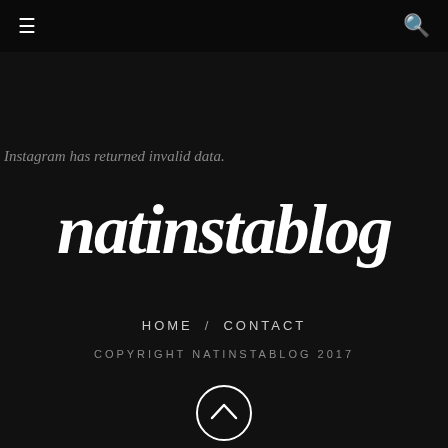≡  🔍
Instagram has returned invalid data.
natinstablog
HOME  /  CONTACT
COPYRIGHT NATINSTABLOG 2017
[Figure (illustration): Back to top button — circle with upward chevron arrow inside, white stroke on dark background]